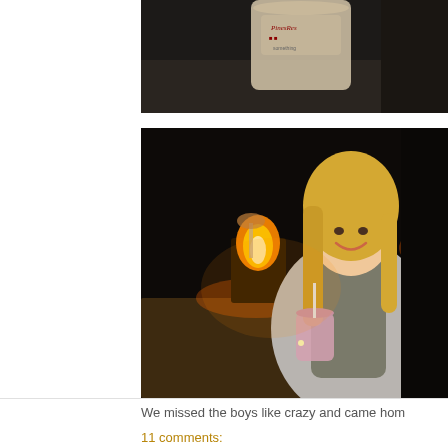[Figure (photo): Partial top photo showing a cup/drink with a logo visible, dark background, cropped at top of page]
[Figure (photo): A smiling blonde woman wearing a grey hoodie and vest, sitting outdoors at night near a fire pit, holding a drink with a straw. Warm fire glow visible behind her.]
We missed the boys like crazy and came hom
11 comments: